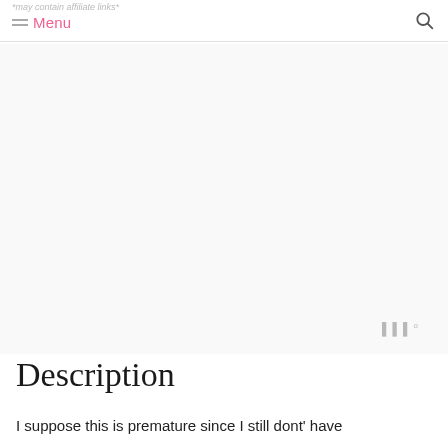*may contain affiliate links* Menu
[Figure (other): Advertisement or image placeholder area with a small icon in the bottom right]
Description
I suppose this is premature since I still dont' have